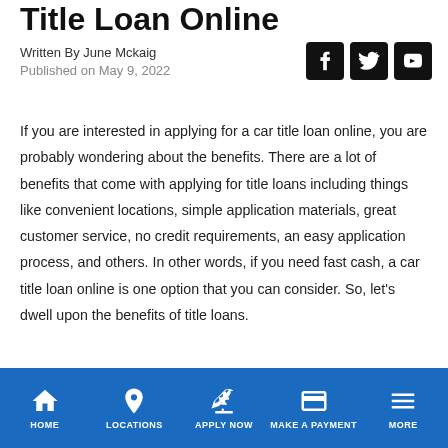Title Loan Online
Written By June Mckaig
Published on May 9, 2022
[Figure (other): Social media icons: Facebook, Twitter, YouTube]
If you are interested in applying for a car title loan online, you are probably wondering about the benefits. There are a lot of benefits that come with applying for title loans including things like convenient locations, simple application materials, great customer service, no credit requirements, an easy application process, and others. In other words, if you need fast cash, a car title loan online is one option that you can consider. So, let's dwell upon the benefits of title loans.
Benefits Of Getting A Car Title Loan
[Figure (other): Bottom navigation bar with icons: HOME, LOCATIONS, APPLY NOW, MAKE A PAYMENT, MORE]